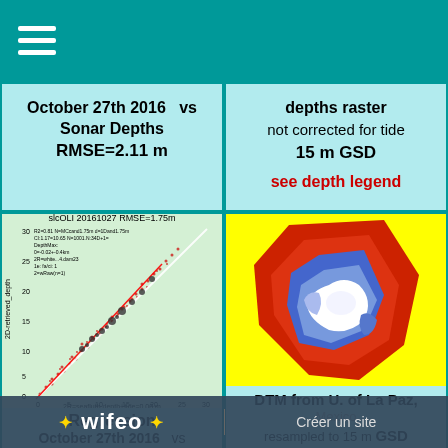October 27th 2016 vs Sonar Depths RMSE=2.11 m
depths raster not corrected for tide 15 m GSD see depth legend
[Figure (scatter-plot): slcOLI 20161027 RMSE=1.75m scatter plot of 2D-retrieved depth vs 2R=seafluth depth+tide=0.00 m]
[Figure (map): DTM bathymetry map from U. of La Paz, yellow background with red-white-blue depth color map]
Regression October 27th 2016 vs
DTM from U. of La Paz, Mexico resampled to 15 m GSD